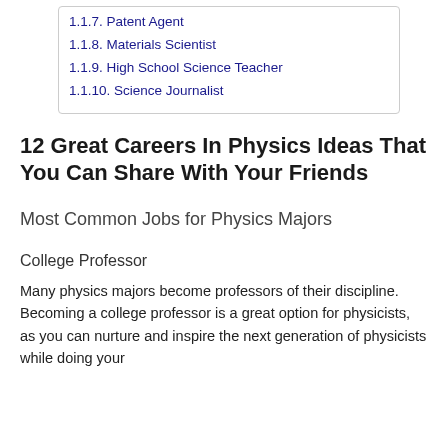1.1.7. Patent Agent
1.1.8. Materials Scientist
1.1.9. High School Science Teacher
1.1.10. Science Journalist
12 Great Careers In Physics Ideas That You Can Share With Your Friends
Most Common Jobs for Physics Majors
College Professor
Many physics majors become professors of their discipline. Becoming a college professor is a great option for physicists, as you can nurture and inspire the next generation of physicists while doing your